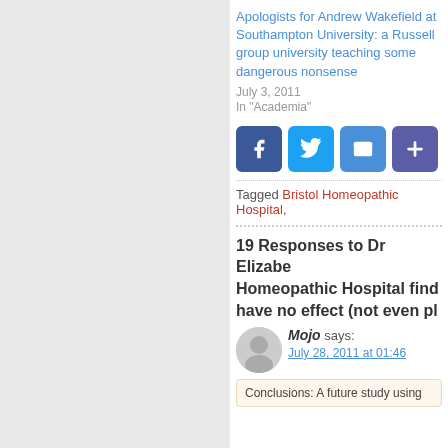Apologists for Andrew Wakefield at Southampton University: a Russell group university teaching some dangerous nonsense
July 3, 2011
In "Academia"
[Figure (other): Social share buttons: Facebook, Twitter, Email, More]
Tagged Bristol Homeopathic Hospital,
19 Responses to Dr Elizabeth Homeopathic Hospital find have no effect (not even pl
Mojo says:
July 28, 2011 at 01:46
Conclusions: A future study using